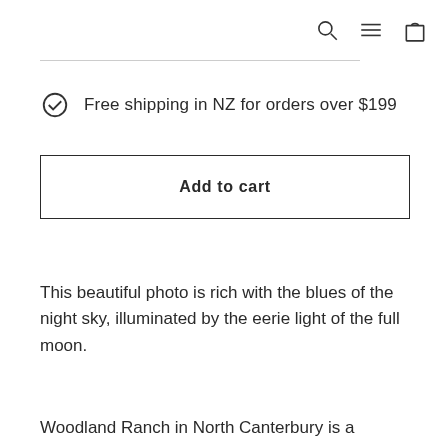Navigation icons: search, menu, cart
Free shipping in NZ for orders over $199
Add to cart
This beautiful photo is rich with the blues of the night sky, illuminated by the eerie light of the full moon.
Woodland Ranch in North Canterbury is a